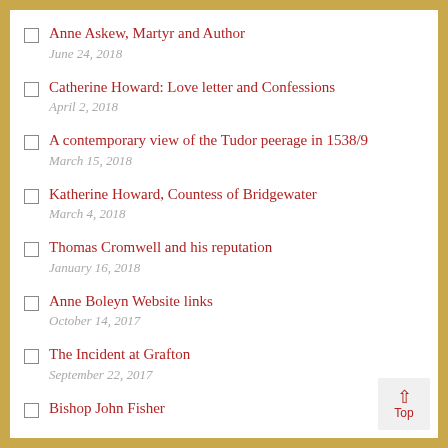Anne Askew, Martyr and Author
June 24, 2018
Catherine Howard: Love letter and Confessions
April 2, 2018
A contemporary view of the Tudor peerage in 1538/9
March 15, 2018
Katherine Howard, Countess of Bridgewater
March 4, 2018
Thomas Cromwell and his reputation
January 16, 2018
Anne Boleyn Website links
October 14, 2017
The Incident at Grafton
September 22, 2017
Bishop John Fisher